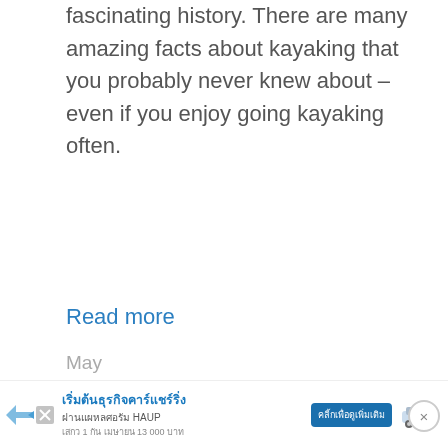fascinating history. There are many amazing facts about kayaking that you probably never knew about – even if you enjoy going kayaking often.
Read more
Basic Kayaking Knowledge, Learn
Snowboarding Slangs 101 – Talk Like A Pro
May
[Figure (other): Thai language advertisement banner for HAUP car sharing service with a button and car image, with close and skip buttons]